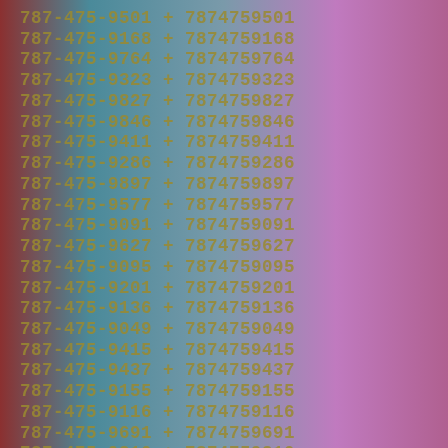[Figure (other): Gradient background with list of phone numbers and their numeric equivalents, displayed in gold/olive monospace text on a teal-to-purple gradient background with dark red borders.]
787-475-9501 + 7874759501
787-475-9168 + 7874759168
787-475-9764 + 7874759764
787-475-9323 + 7874759323
787-475-9827 + 7874759827
787-475-9846 + 7874759846
787-475-9411 + 7874759411
787-475-9286 + 7874759286
787-475-9897 + 7874759897
787-475-9577 + 7874759577
787-475-9091 + 7874759091
787-475-9627 + 7874759627
787-475-9095 + 7874759095
787-475-9201 + 7874759201
787-475-9136 + 7874759136
787-475-9049 + 7874759049
787-475-9415 + 7874759415
787-475-9437 + 7874759437
787-475-9155 + 7874759155
787-475-9116 + 7874759116
787-475-9691 + 7874759691
787-475-9310 + 7874759310